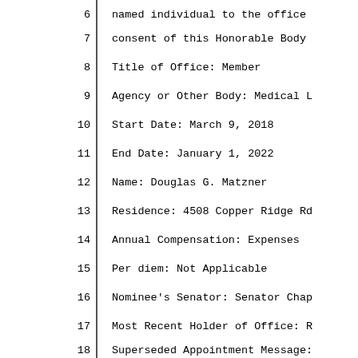6   named individual to the office
7   consent of this Honorable Body
8   Title of Office: Member
9   Agency or Other Body: Medical L
10  Start Date: March 9, 2018
11  End Date: January 1, 2022
12  Name: Douglas G. Matzner
13  Residence: 4508 Copper Ridge Rd
14  Annual Compensation: Expenses
15  Per diem: Not Applicable
16  Nominee's Senator: Senator Chap
17  Most Recent Holder of Office: R
18  Superseded Appointment Message: